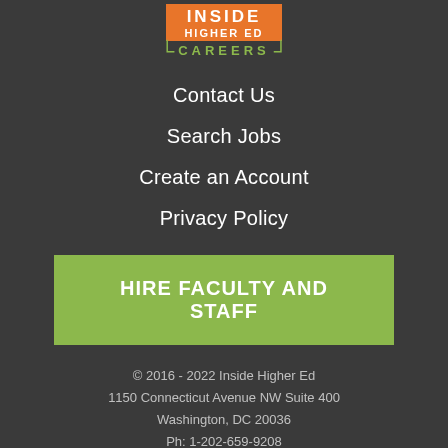[Figure (logo): Inside Higher Ed Careers logo with orange 'INSIDE HIGHER ED' block and green bracket 'CAREERS' text]
Contact Us
Search Jobs
Create an Account
Privacy Policy
HIRE FACULTY AND STAFF
© 2016 - 2022 Inside Higher Ed
1150 Connecticut Avenue NW Suite 400
Washington, DC 20036
Ph: 1-202-659-9208